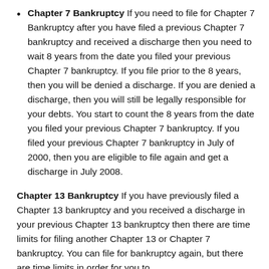Chapter 7 Bankruptcy If you need to file for Chapter 7 Bankruptcy after you have filed a previous Chapter 7 bankruptcy and received a discharge then you need to wait 8 years from the date you filed your previous Chapter 7 bankruptcy. If you file prior to the 8 years, then you will be denied a discharge. If you are denied a discharge, then you will still be legally responsible for your debts. You start to count the 8 years from the date you filed your previous Chapter 7 bankruptcy. If you filed your previous Chapter 7 bankruptcy in July of 2000, then you are eligible to file again and get a discharge in July 2008.
Chapter 13 Bankruptcy If you have previously filed a Chapter 13 bankruptcy and you received a discharge in your previous Chapter 13 bankruptcy then there are time limits for filing another Chapter 13 or Chapter 7 bankruptcy. You can file for bankruptcy again, but there are time limits in order for you to